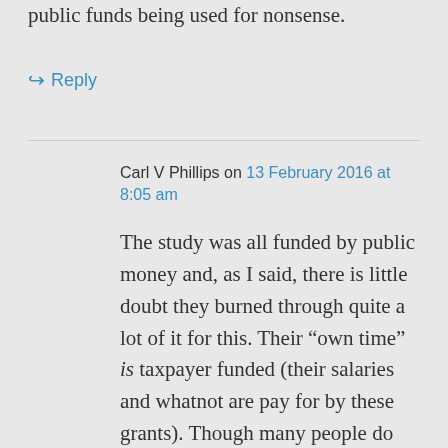public funds being used for nonsense.
↪ Reply
Carl V Phillips on 13 February 2016 at 8:05 am
The study was all funded by public money and, as I said, there is little doubt they burned through quite a lot of it for this. Their “own time” is taxpayer funded (their salaries and whatnot are pay for by these grants). Though many people do not realize that, that is how public health works, so this assessment is not right. They are not salaried